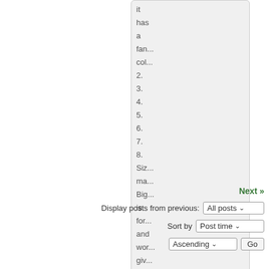[Figure (screenshot): A forum-style scrollable content box showing truncated list items: 'it', 'has', 'a', 'fan...', 'col...', '2.', '3.', '4.', '5.', '6.', '7.', '8.', 'Siz...', 'ma...', 'Big...', 'is', 'for...', 'and', 'wor...', 'giv...', 'the', 'mo...', 'ple...' with a scroll-up button at the bottom right.]
Next »
Display posts from previous: All posts
Sort by Post time
Ascending Go